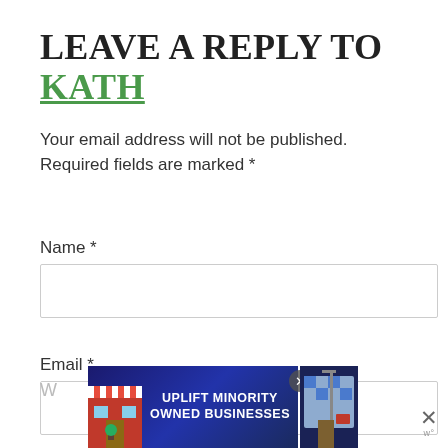LEAVE A REPLY TO KATH
Your email address will not be published. Required fields are marked *
Name *
Email *
[Figure (infographic): Advertisement banner: 'UPLIFT MINORITY OWNED BUSINESSES' with store illustrations and a close button.]